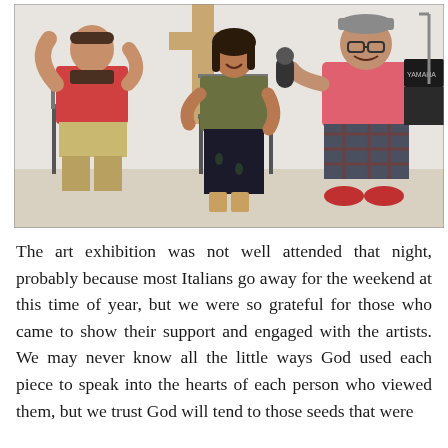[Figure (photo): Three people seated on chairs in a white room. On the left, a bearded man in a red t-shirt and khaki shorts gesturing with his hands. In the center, a woman with dark hair in an olive top and black pants with sandals. On the right, a heavier man in a pink polo shirt and plaid shorts holding a microphone. A wooden cross is visible in the background along with a Yamaha keyboard.]
The art exhibition was not well attended that night, probably because most Italians go away for the weekend at this time of year, but we were so grateful for those who came to show their support and engaged with the artists. We may never know all the little ways God used each piece to speak into the hearts of each person who viewed them, but we trust God will tend to those seeds that were